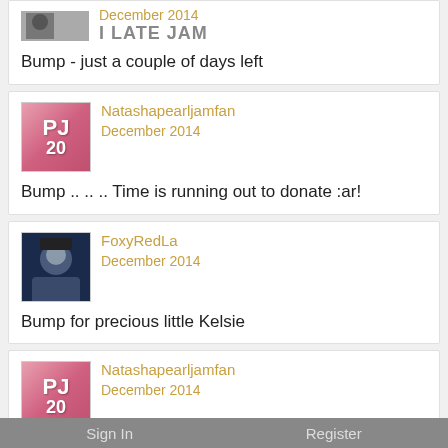Bump - just a couple of days left
Natashapearljamfan
December 2014
Bump .. .. .. Time is running out to donate :ar!
FoxyRedLa
December 2014
Bump for precious little Kelsie
Natashapearljamfan
December 2014
Christmas bump for Kelsie <:-P
Sign In    Register